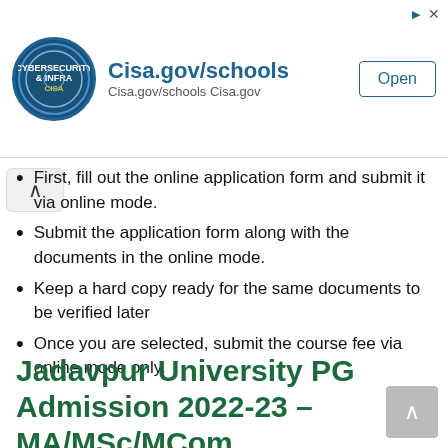[Figure (other): Advertisement banner for Cisa.gov/schools with CISA logo, URL text, and Open button]
First, fill out the online application form and submit it via online mode.
Submit the application form along with the documents in the online mode.
Keep a hard copy ready for the same documents to be verified later
Once you are selected, submit the course fee via online mode only.
Jadavpur University PG Admission 2022-23 – MA/MSc/MCom